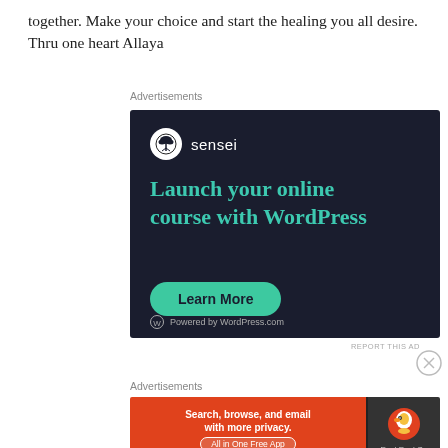together. Make your choice and start the healing you all desire. Thru one heart Allaya
Advertisements
[Figure (illustration): Sensei advertisement for launching online courses with WordPress. Dark navy background with teal/green heading 'Launch your online course with WordPress', a sensei logo (bonsai tree in white circle), and a 'Learn More' button. Footer shows 'Powered by WordPress.com'.]
REPORT THIS AD
Advertisements
[Figure (illustration): DuckDuckGo advertisement. Orange left panel with text 'Search, browse, and email with more privacy. All in One Free App' and dark right panel with DuckDuckGo duck logo and 'DuckDuckGo' text.]